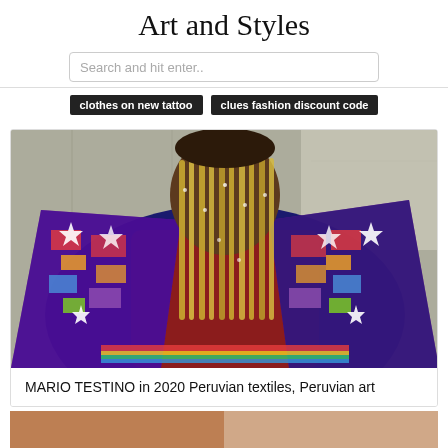Art and Styles
Search and hit enter..
clothes on new tattoo
clues fashion discount code
[Figure (photo): Person wearing colorful embroidered Peruvian traditional clothing with elaborate beaded braids covering their face, standing against a stone wall background.]
MARIO TESTINO in 2020 Peruvian textiles, Peruvian art
[Figure (photo): Partial view of another photo at the bottom of the page.]